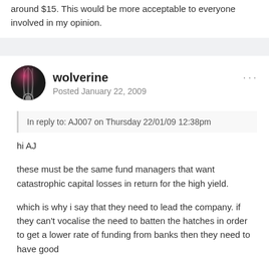around $15. This would be more acceptable to everyone involved in my opinion.
wolverine
Posted January 22, 2009
In reply to: AJ007 on Thursday 22/01/09 12:38pm
hi AJ
these must be the same fund managers that want catastrophic capital losses in return for the high yield.
which is why i say that they need to lead the company. if they can't vocalise the need to batten the hatches in order to get a lower rate of funding from banks then they need to have good